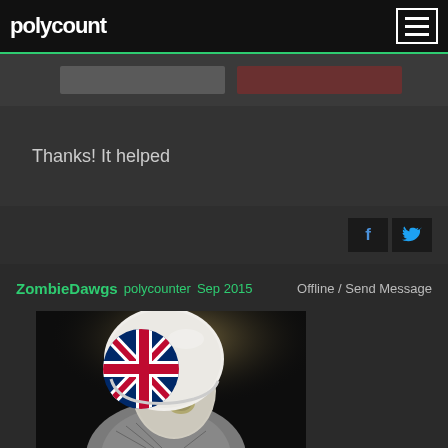polycount
Thanks! It helped
f  (twitter bird icon)
ZombieDawgs  polycounter  Sep 2015  Offline / Send Message
[Figure (photo): Profile photo of a character wearing a white British flag helmet and a gas mask, with a leather jacket. Dark moody background with dramatic lighting.]